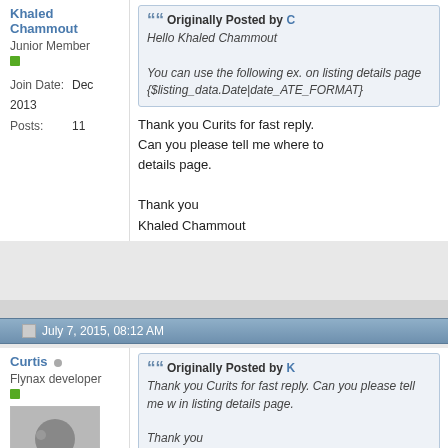Khaled Chammout
Junior Member
Join Date: Dec 2013
Posts: 11
Originally Posted by C
Hello Khaled Chammout
You can use the following ex. on listing details page {$listing_data.Date|date_ATE_FORMAT}
Thank you Curits for fast reply. Can you please tell me where to details page.

Thank you
Khaled Chammout
July 7, 2015, 08:12 AM
Curtis
Flynax developer
Join Date: Jun 2012
Originally Posted by K
Thank you Curits for fast reply. Can you please tell me where in listing details page.

Thank you
Khaled Chammout